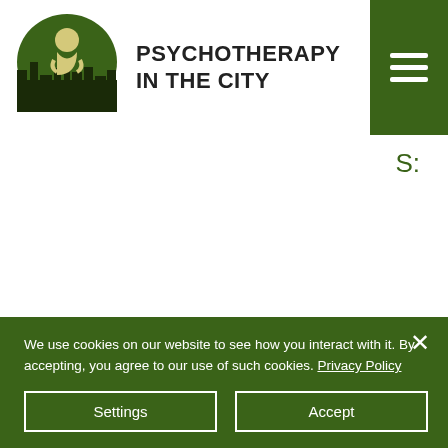[Figure (logo): Psychotherapy in the City logo: green brain with city skyline silhouette and figure]
PSYCHOTHERAPY IN THE CITY
S:
Message
We use cookies on our website to see how you interact with it. By accepting, you agree to our use of such cookies. Privacy Policy
Settings
Accept